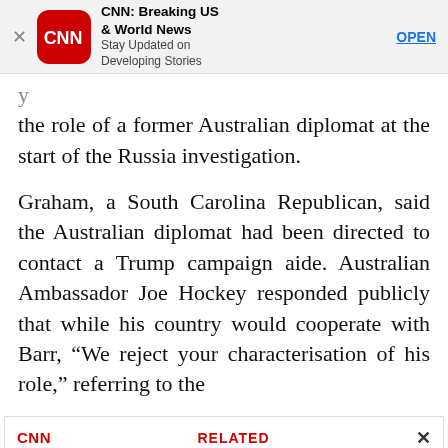[Figure (screenshot): CNN app advertisement banner with CNN logo, title 'CNN: Breaking US & World News', subtitle 'Stay Updated on Developing Stories', and an OPEN button]
the role of a former Australian diplomat at the start of the Russia investigation.
Graham, a South Carolina Republican, said the Australian diplomat had been directed to contact a Trump campaign aide. Australian Ambassador Joe Hockey responded publicly that while his country would cooperate with Barr, “We reject your characterisation of his role,” referring to the
[Figure (screenshot): CNN Related article card: 'William Barr, on Fox, says there’s no legitimate reason for classified docs to be at Mar-a-Lago and doubts Trump...' with a photo of William Barr]